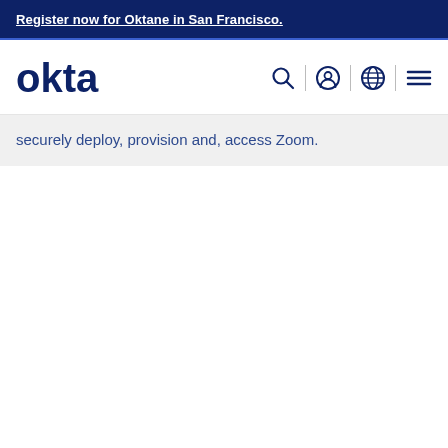Register now for Oktane in San Francisco.
[Figure (logo): Okta logo in dark navy blue with navigation icons: search, user account, globe/language, and hamburger menu]
securely deploy, provision and, access Zoom.